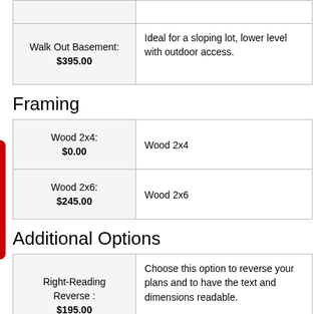| Walk Out Basement:
$395.00 | Ideal for a sloping lot, lower level with outdoor access. |
Framing
| Wood 2x4:
$0.00 | Wood 2x4 |
| Wood 2x6:
$245.00 | Wood 2x6 |
Additional Options
| Right-Reading Reverse :
$195.00 | Choose this option to reverse your plans and to have the text and dimensions readable. |